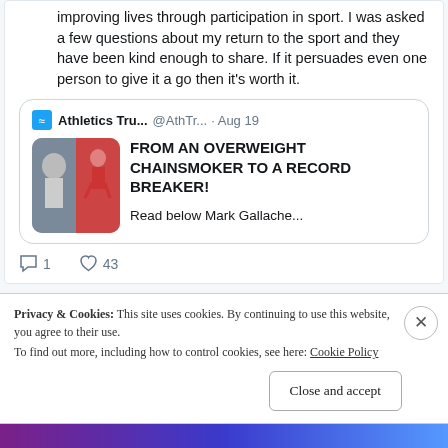improving lives through participation in sport. I was asked a few questions about my return to the sport and they have been kind enough to share. If it persuades even one person to give it a go then it's worth it.
[Figure (screenshot): Quoted tweet from Athletics Tru... @AthTr... · Aug 19 with headline FROM AN OVERWEIGHT CHAINSMOKER TO A RECORD BREAKER! and preview image of a man alongside an athlete running, with text Read below Mark Gallache...]
Reply 1  Like 43
Privacy & Cookies: This site uses cookies. By continuing to use this website, you agree to their use.
To find out more, including how to control cookies, see here: Cookie Policy
Close and accept